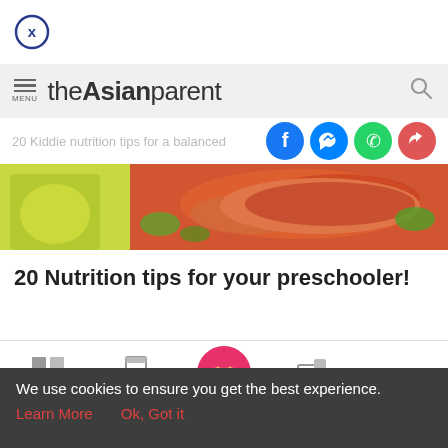[Figure (screenshot): Close button - circle with X]
theAsianparent
20 Kiddie nutrition tips for a balanced
[Figure (photo): Hero image showing child in yellow and food/salmon dish]
20 Nutrition tips for your preschooler!
[Figure (infographic): Bottom navigation bar with Tools, Articles, home (feet icon), Feed, Poll]
We use cookies to ensure you get the best experience.
Learn More   Ok, Got it